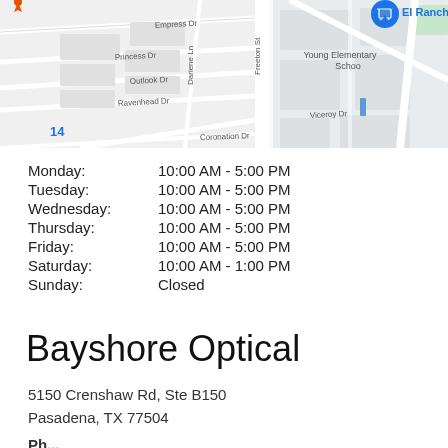[Figure (map): Google Maps screenshot showing street map with El Rancho Supermercado marker and nearby streets including Empress Dr, Princess Dr, Outlook Dr, Ravenhead Dr, Viceroy Dr, Coronation Dr, Dariene Ln, Freeton St. Young Elementary School visible on right side.]
Monday: 10:00 AM - 5:00 PM
Tuesday: 10:00 AM - 5:00 PM
Wednesday: 10:00 AM - 5:00 PM
Thursday: 10:00 AM - 5:00 PM
Friday: 10:00 AM - 5:00 PM
Saturday: 10:00 AM - 1:00 PM
Sunday: Closed
Bayshore Optical
5150 Crenshaw Rd, Ste B150
Pasadena, TX 77504
Ph...